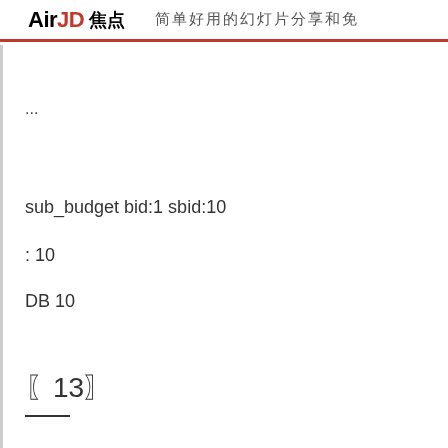AirJD 焦点  简单好用的幻灯片分享和免
...
sub_budget bid:1 sbid:10
: 10
DB 10
〖13〗
—